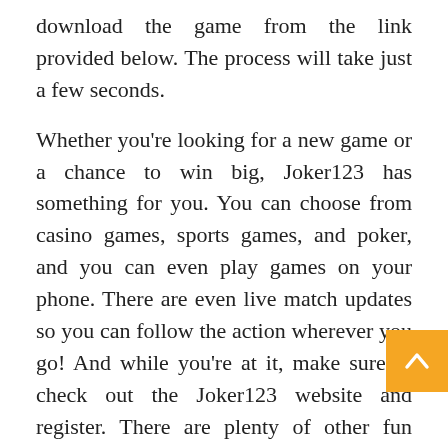download the game from the link provided below. The process will take just a few seconds.
Whether you're looking for a new game or a chance to win big, Joker123 has something for you. You can choose from casino games, sports games, and poker, and you can even play games on your phone. There are even live match updates so you can follow the action wherever you go! And while you're at it, make sure to check out the Joker123 website and register. There are plenty of other fun ways to play this Android application.
You can play games from any location on your mobile device. You can also place wagers on the sports that you love. Depending on your preferences, you can also play other types of games with your phone. You can also try your luck with a